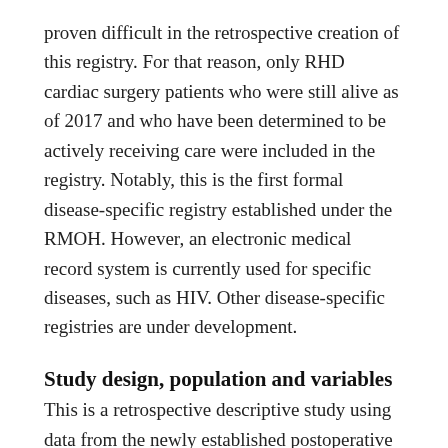proven difficult in the retrospective creation of this registry. For that reason, only RHD cardiac surgery patients who were still alive as of 2017 and who have been determined to be actively receiving care were included in the registry. Notably, this is the first formal disease-specific registry established under the RMOH. However, an electronic medical record system is currently used for specific diseases, such as HIV. Other disease-specific registries are under development.
Study design, population and variables
This is a retrospective descriptive study using data from the newly established postoperative RHD registry in Rwanda. We included all living patients, regardless of age, who underwent RHD surgery between 2006 and